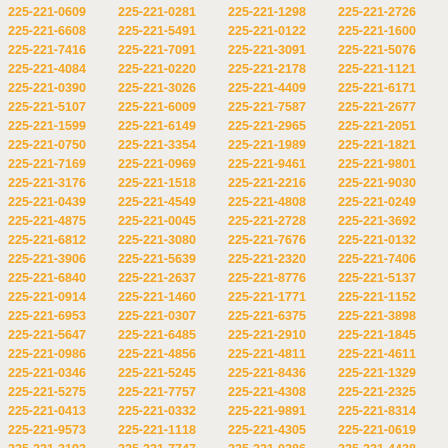| 225-221-0609 | 225-221-0281 | 225-221-1298 | 225-221-2726 |
| 225-221-6608 | 225-221-5491 | 225-221-0122 | 225-221-1600 |
| 225-221-7416 | 225-221-7091 | 225-221-3091 | 225-221-5076 |
| 225-221-4084 | 225-221-0220 | 225-221-2178 | 225-221-1121 |
| 225-221-0390 | 225-221-3026 | 225-221-4409 | 225-221-6171 |
| 225-221-5107 | 225-221-6009 | 225-221-7587 | 225-221-2677 |
| 225-221-1599 | 225-221-6149 | 225-221-2965 | 225-221-2051 |
| 225-221-0750 | 225-221-3354 | 225-221-1989 | 225-221-1821 |
| 225-221-7169 | 225-221-0969 | 225-221-9461 | 225-221-9801 |
| 225-221-3176 | 225-221-1518 | 225-221-2216 | 225-221-9030 |
| 225-221-0439 | 225-221-4549 | 225-221-4808 | 225-221-0249 |
| 225-221-4875 | 225-221-0045 | 225-221-2728 | 225-221-3692 |
| 225-221-6812 | 225-221-3080 | 225-221-7676 | 225-221-0132 |
| 225-221-3906 | 225-221-5639 | 225-221-2320 | 225-221-7406 |
| 225-221-6840 | 225-221-2637 | 225-221-8776 | 225-221-5137 |
| 225-221-0914 | 225-221-1460 | 225-221-1771 | 225-221-1152 |
| 225-221-6953 | 225-221-0307 | 225-221-6375 | 225-221-3898 |
| 225-221-5647 | 225-221-6485 | 225-221-2910 | 225-221-1845 |
| 225-221-0986 | 225-221-4856 | 225-221-4811 | 225-221-4611 |
| 225-221-0346 | 225-221-5245 | 225-221-8436 | 225-221-1329 |
| 225-221-5275 | 225-221-7757 | 225-221-4308 | 225-221-2325 |
| 225-221-0413 | 225-221-0332 | 225-221-9891 | 225-221-8314 |
| 225-221-9573 | 225-221-1118 | 225-221-4305 | 225-221-0619 |
| 225-221-3193 | 225-221-7747 | 225-221-0286 | 225-221-4438 |
| 225-221-1515 | 225-221-6489 | 225-221-5309 | 225-221-9800 |
| 225-221-0891 | 225-221-2407 | 225-221-9022 | 225-221-0028 |
| 225-221-4789 | 225-221-0121 | 225-221-8686 | 225-221-7512 |
| 225-221-5898 | 225-221-1904 | 225-221-3373 | 225-221-2928 |
| 225-221-8073 | 225-221-6114 | 225-221-4075 | 225-221-0542 |
| 225-221-6392 | 225-221-7411 | 225-221-6006 | 225-221-1650 |